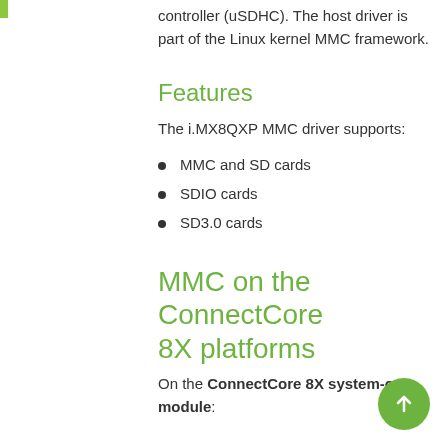controller (uSDHC). The host driver is part of the Linux kernel MMC framework.
Features
The i.MX8QXP MMC driver supports:
MMC and SD cards
SDIO cards
SD3.0 cards
MMC on the ConnectCore 8X platforms
On the ConnectCore 8X system-on-module: